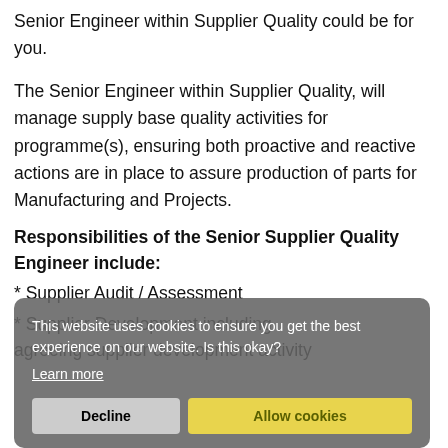Senior Engineer within Supplier Quality could be for you.
The Senior Engineer within Supplier Quality, will manage supply base quality activities for programme(s), ensuring both proactive and reactive actions are in place to assure production of parts for Manufacturing and Projects.
Responsibilities of the Senior Supplier Quality Engineer include:
* Supplier Audit / Assessment
* Supplier Development including agreeing supplier development activity
This website uses cookies to ensure you get the best experience on our website. Is this okay? Learn more [Decline] [Allow cookies]